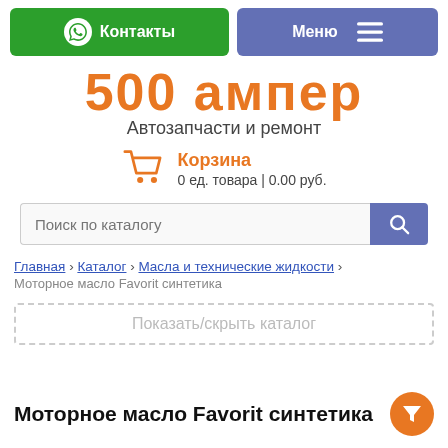[Figure (screenshot): Navigation bar with green Contacts (WhatsApp) button and purple Menu button]
500 ампер
Автозапчасти и ремонт
Корзина
0 ед. товара | 0.00 руб.
Поиск по каталогу
Главная › Каталог › Масла и технические жидкости ›
Моторное масло Favorit синтетика
Показать/скрыть каталог
Моторное масло Favorit синтетика